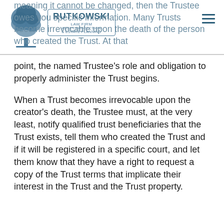RUTKOWSKI LAW FIRM · ASSET PROTECTION · ESTATE PLANNING
meaning it cannot be changed, then the Trustee owes you specific information. Many Trusts become irrevocable upon the death of the person who created the Trust. At that point, the named Trustee's role and obligation to properly administer the Trust begins.
When a Trust becomes irrevocable upon the creator's death, the Trustee must, at the very least, notify qualified trust beneficiaries that the Trust exists, tell them who created the Trust and if it will be registered in a specific court, and let them know that they have a right to request a copy of the Trust terms that implicate their interest in the Trust and the Trust property.